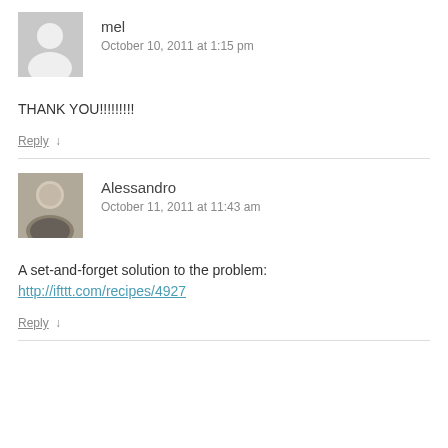mel
October 10, 2011 at 1:15 pm
THANK YOU!!!!!!!!!
Reply ↓
Alessandro
October 11, 2011 at 11:43 am
A set-and-forget solution to the problem: http://ifttt.com/recipes/4927
Reply ↓